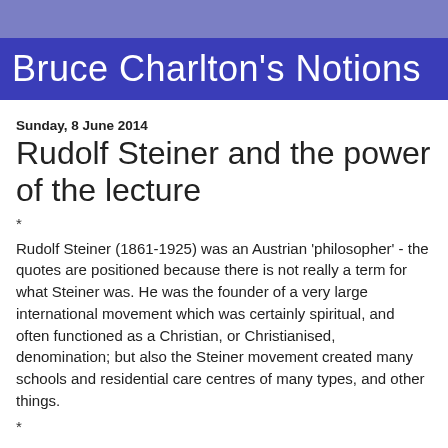Bruce Charlton's Notions
Sunday, 8 June 2014
Rudolf Steiner and the power of the lecture
*
Rudolf Steiner (1861-1925) was an Austrian 'philosopher' - the quotes are positioned because there is not really a term for what Steiner was. He was the founder of a very large international movement which was certainly spiritual, and often functioned as a Christian, or Christianised, denomination; but also the Steiner movement created many schools and residential care centres of many types, and other things.
*